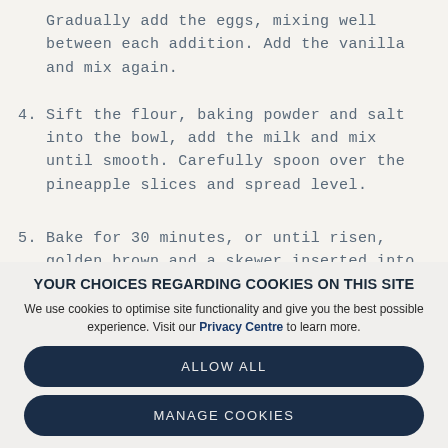Gradually add the eggs, mixing well between each addition. Add the vanilla and mix again.
4. Sift the flour, baking powder and salt into the bowl, add the milk and mix until smooth. Carefully spoon over the pineapple slices and spread level.
5. Bake for 30 minutes, or until risen, golden brown and a skewer inserted into the middle of the cake comes out clean.
YOUR CHOICES REGARDING COOKIES ON THIS SITE
We use cookies to optimise site functionality and give you the best possible experience. Visit our Privacy Centre to learn more.
ALLOW ALL
MANAGE COOKIES